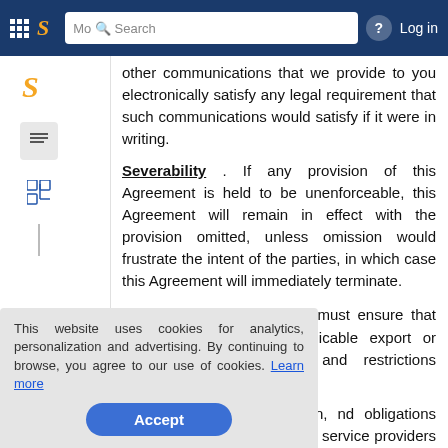Scribd navigation bar with logo, search, help, and login
other communications that we provide to you electronically satisfy any legal requirement that such communications would satisfy if it were in writing.
Severability . If any provision of this Agreement is held to be unenforceable, this Agreement will remain in effect with the provision omitted, unless omission would frustrate the intent of the parties, in which case this Agreement will immediately terminate.
Export/Import Laws . You must ensure that you comply with any applicable export or import rules, regulations and restrictions applicable to
gn or transfer freely assign, nd obligations nowledge and ontractors and service providers may exercise all rights of
This website uses cookies for analytics, personalization and advertising. By continuing to browse, you agree to our use of cookies. Learn more
Accept